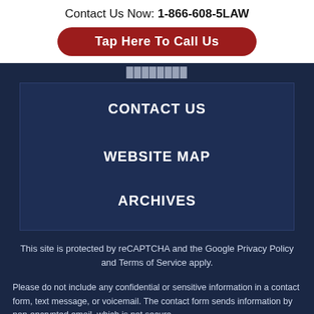Contact Us Now: 1-866-608-5LAW
Tap Here To Call Us
CONTACT US
WEBSITE MAP
ARCHIVES
This site is protected by reCAPTCHA and the Google Privacy Policy and Terms of Service apply.
Please do not include any confidential or sensitive information in a contact form, text message, or voicemail. The contact form sends information by non-encrypted email, which is not secure.